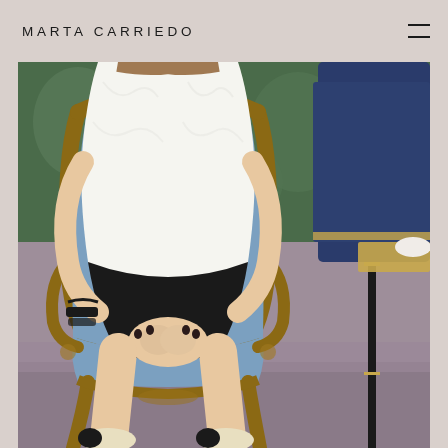MARTA CARRIEDO
[Figure (photo): A woman seated on a ornate blue floral upholstered French-style gilded wooden armchair, wearing a white ruffled blouse and black leather shorts with black wristbands and bracelets, her hands clasped on her knees, wearing black-and-cream two-tone cap-toe ballet flats. A blue velvet chair is visible on the right side, with a gold and black side table. The room has floral wallpaper in the background and a grey/mauve carpet. The image is cropped showing from roughly the shoulder/neck level downward.]